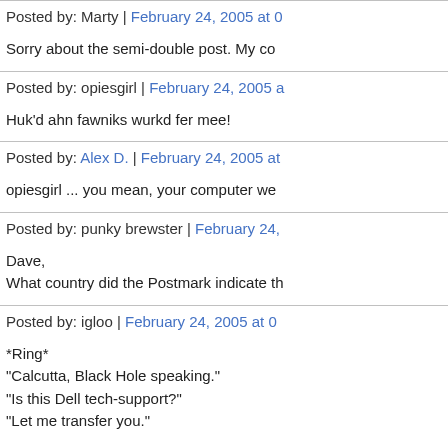Posted by: Marty | February 24, 2005 at 0
Sorry about the semi-double post. My co
Posted by: opiesgirl | February 24, 2005 a
Huk'd ahn fawniks wurkd fer mee!
Posted by: Alex D. | February 24, 2005 at
opiesgirl ... you mean, your computer we
Posted by: punky brewster | February 24,
Dave,
What country did the Postmark indicate th
Posted by: igloo | February 24, 2005 at 0
*Ring*
"Calcutta, Black Hole speaking."
"Is this Dell tech-support?"
"Let me transfer you."